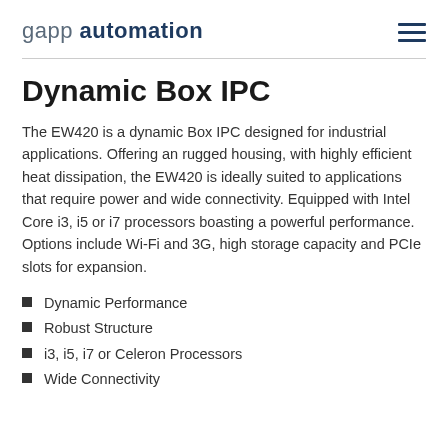gapp automation
Dynamic Box IPC
The EW420 is a dynamic Box IPC designed for industrial applications. Offering an rugged housing, with highly efficient heat dissipation, the EW420 is ideally suited to applications that require power and wide connectivity. Equipped with Intel Core i3, i5 or i7 processors boasting a powerful performance. Options include Wi-Fi and 3G, high storage capacity and PCIe slots for expansion.
Dynamic Performance
Robust Structure
i3, i5, i7 or Celeron Processors
Wide Connectivity